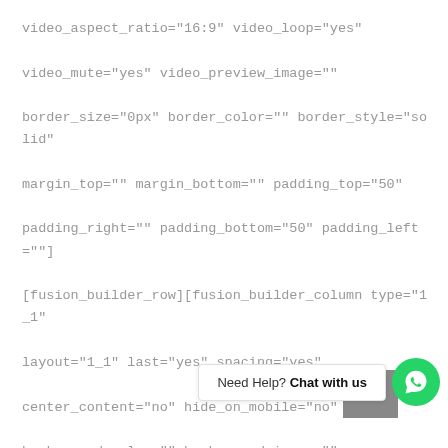video_aspect_ratio="16:9" video_loop="yes"
video_mute="yes" video_preview_image=""
border_size="0px" border_color="" border_style="solid"
margin_top="" margin_bottom="" padding_top="50"
padding_right="" padding_bottom="50" padding_left=""]
[fusion_builder_row][fusion_builder_column type="1_1"
layout="1_1" last="yes" spacing="yes"
center_content="no" hide_on_mobile="no"
background_color="" background_image=""
background_repeat="no-repeat"
background_position="left top" hover_type="none"
link="" border_position="a
borider_color="" border_style="" padding_top=""